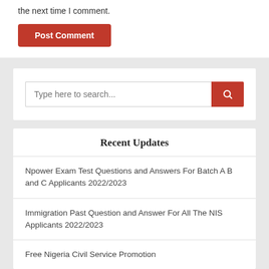the next time I comment.
Post Comment
Type here to search...
Recent Updates
Npower Exam Test Questions and Answers For Batch A B and C Applicants 2022/2023
Immigration Past Question and Answer For All The NIS Applicants 2022/2023
Free Nigeria Civil Service Promotion